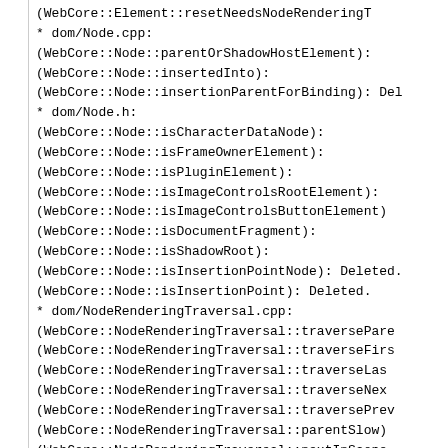(WebCore::Element::resetNeedsNodeRenderingT
* dom/Node.cpp:
(WebCore::Node::parentOrShadowHostElement):
(WebCore::Node::insertedInto):
(WebCore::Node::insertionParentForBinding): Del
* dom/Node.h:
(WebCore::Node::isCharacterDataNode):
(WebCore::Node::isFrameOwnerElement):
(WebCore::Node::isPluginElement):
(WebCore::Node::isImageControlsRootElement):
(WebCore::Node::isImageControlsButtonElement)
(WebCore::Node::isDocumentFragment):
(WebCore::Node::isShadowRoot):
(WebCore::Node::isInsertionPointNode): Deleted.
(WebCore::Node::isInsertionPoint): Deleted.
* dom/NodeRenderingTraversal.cpp:
(WebCore::NodeRenderingTraversal::traversePare
(WebCore::NodeRenderingTraversal::traverseFirs
(WebCore::NodeRenderingTraversal::traverseLas
(WebCore::NodeRenderingTraversal::traverseNex
(WebCore::NodeRenderingTraversal::traversePrev
(WebCore::NodeRenderingTraversal::parentSlow)
(WebCore::NodeRenderingTraversal::nextInScope
(WebCore::NodeRenderingTraversal::previousInS
(WebCore::NodeRenderingTraversal::parentInSco
(WebCore::NodeRenderingTraversal::lastChildInS
(WebCore::NodeRenderingTraversal::nodeCanBe
(WebCore::NodeRenderingTraversal::findFirstSibl
(WebCore::NodeRenderingTraversal::findFirstEnte
(WebCore::NodeRenderingTraversal::findFirstFrom